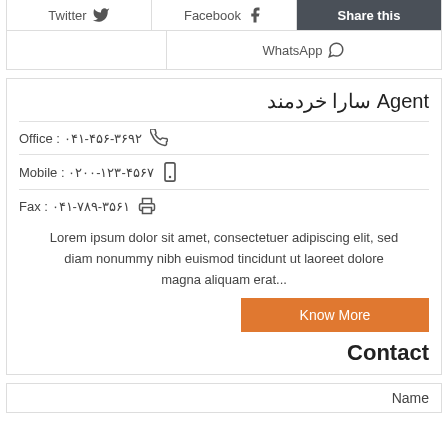[Figure (screenshot): Social share buttons: Twitter, Facebook, Share this, WhatsApp]
Agent سارا خردمند
Office : ۰۴۱-۴۵۶-۳۶۹۲
Mobile : ۰۲۰۰-۱۲۳-۴۵۶۷
Fax : ۰۴۱-۷۸۹-۳۵۶۱
Lorem ipsum dolor sit amet, consectetuer adipiscing elit, sed diam nonummy nibh euismod tincidunt ut laoreet dolore magna aliquam erat...
Know More
Contact
Name